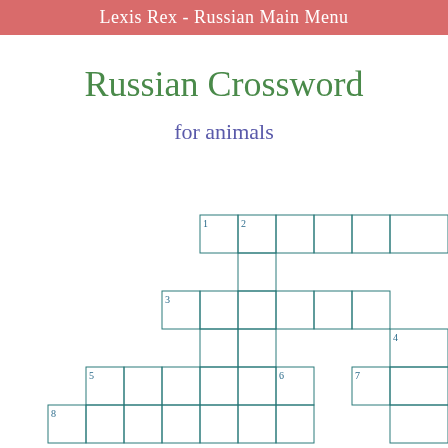Lexis Rex - Russian Main Menu
Russian Crossword
for animals
[Figure (other): Partial crossword puzzle grid with numbered cells. Numbers visible: 1, 2, 3, 4, 5, 6, 7, 8. The grid is drawn with thin teal/dark cyan lines forming interlocking rows and columns of squares.]